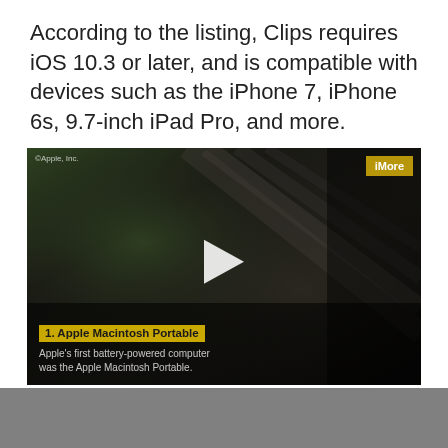According to the listing, Clips requires iOS 10.3 or later, and is compatible with devices such as the iPhone 7, iPhone 6s, 9.7-inch iPad Pro, and more.
[Figure (screenshot): Video thumbnail showing a close-up of a dark Apple device (likely Macintosh Portable) with a play button overlay. Top-left shows '©Apple, Inc.' watermark. Top-right has an 'iMore' yellow badge. Bottom overlay shows '1. Apple Macintosh Portable' in bold yellow highlight and subtitle 'Apple's first battery-powered computer was the Apple Macintosh Portable.']